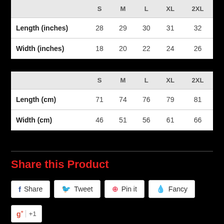|  | S | M | L | XL | 2XL |
| --- | --- | --- | --- | --- | --- |
| Length (inches) | 28 | 29 | 30 | 31 | 32 |
| Width (inches) | 18 | 20 | 22 | 24 | 26 |
|  | S | M | L | XL | 2XL |
| --- | --- | --- | --- | --- | --- |
| Length (cm) | 71 | 74 | 76 | 79 | 81 |
| Width (cm) | 46 | 51 | 56 | 61 | 66 |
Share this Product
Share  Tweet  Pin it  Fancy  +1